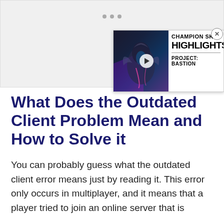[Figure (screenshot): Gray placeholder area with three gray dots at top center, representing an ad or media placeholder.]
[Figure (screenshot): Video advertisement overlay showing a League of Legends champion skin (Project: Bastion) with the text 'CHAMPION SKIN HIGHLIGHTS PROJECT: BASTION' on a white panel beside a dark video thumbnail with a play button.]
What Does the Outdated Client Problem Mean and How to Solve it
You can probably guess what the outdated client error means just by reading it. This error only occurs in multiplayer, and it means that a player tried to join an online server that is